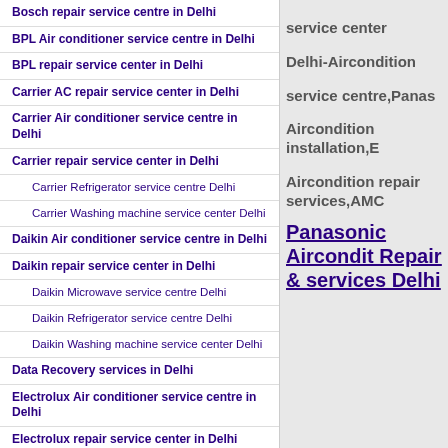Bosch repair service centre in Delhi
BPL Air conditioner service centre in Delhi
BPL repair service center in Delhi
Carrier AC repair service center in Delhi
Carrier Air conditioner service centre in Delhi
Carrier repair service center in Delhi
Carrier Refrigerator service centre Delhi
Carrier Washing machine service center Delhi
Daikin Air conditioner service centre in Delhi
Daikin repair service center in Delhi
Daikin Microwave service centre Delhi
Daikin Refrigerator service centre Delhi
Daikin Washing machine service center Delhi
Data Recovery services in Delhi
Electrolux Air conditioner service centre in Delhi
Electrolux repair service center in Delhi
Electrolux Microwave service centre Delhi
Electrolux Refrigerator service centre Delhi
Electrolux Washing machine service center Delhi
service center Delhi-Aircondition service centre,Panas Aircondition installation,E Aircondition repair services,AMC
Panasonic Airconditioner Repair & services Delhi